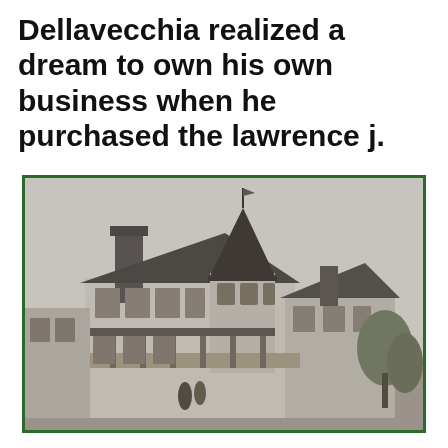Dellavecchia realized a dream to own his own business when he purchased the lawrence j.
[Figure (photo): Black and white historical photograph of a Victorian-style two-story building with a conical tower, large chimney, wrap-around porch, and ornate architectural details. The image is bordered in dark green.]